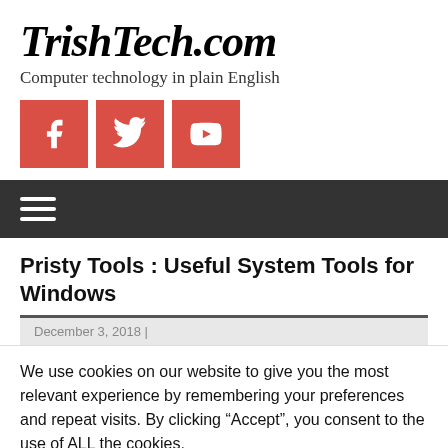TrishTech.com
Computer technology in plain English
[Figure (infographic): Three red social media icon buttons: Facebook, Twitter, YouTube]
[Figure (infographic): Hamburger menu icon (three horizontal white lines on dark background navigation bar)]
Pristy Tools : Useful System Tools for Windows
December 3, 2018 |
We use cookies on our website to give you the most relevant experience by remembering your preferences and repeat visits. By clicking “Accept”, you consent to the use of ALL the cookies.
Do not sell my personal information.